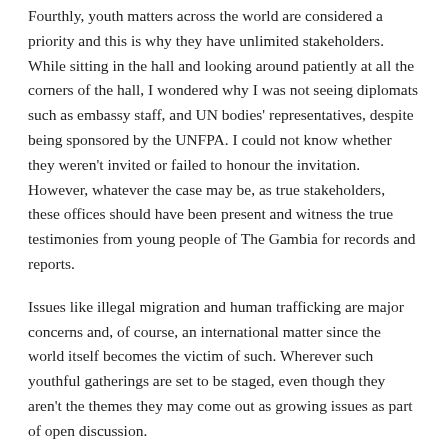Fourthly, youth matters across the world are considered a priority and this is why they have unlimited stakeholders. While sitting in the hall and looking around patiently at all the corners of the hall, I wondered why I was not seeing diplomats such as embassy staff, and UN bodies' representatives, despite being sponsored by the UNFPA. I could not know whether they weren't invited or failed to honour the invitation. However, whatever the case may be, as true stakeholders, these offices should have been present and witness the true testimonies from young people of The Gambia for records and reports.
Issues like illegal migration and human trafficking are major concerns and, of course, an international matter since the world itself becomes the victim of such. Wherever such youthful gatherings are set to be staged, even though they aren't the themes they may come out as growing issues as part of open discussion.
But it would be more effective if they are discussed with the international partners since they are international matters. This could have been avoided by any of the two sides that caused it to happen on Wednesday.